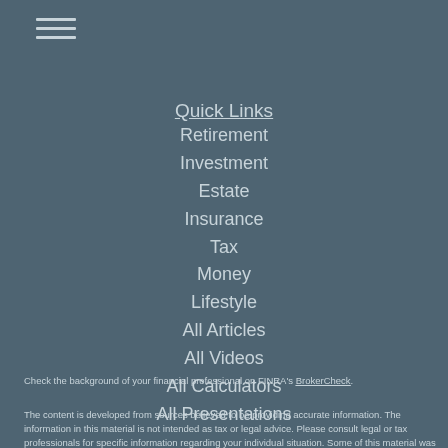[Figure (other): Hamburger menu icon with three horizontal lines]
Quick Links
Retirement
Investment
Estate
Insurance
Tax
Money
Lifestyle
All Articles
All Videos
All Calculators
All Presentations
Check the background of your financial professional on FINRA's BrokerCheck.
The content is developed from sources believed to be providing accurate information. The information in this material is not intended as tax or legal advice. Please consult legal or tax professionals for specific information regarding your individual situation. Some of this material was developed and produced by FMG Suite to provide information on a topic that may be of interest. FMG Suite is not